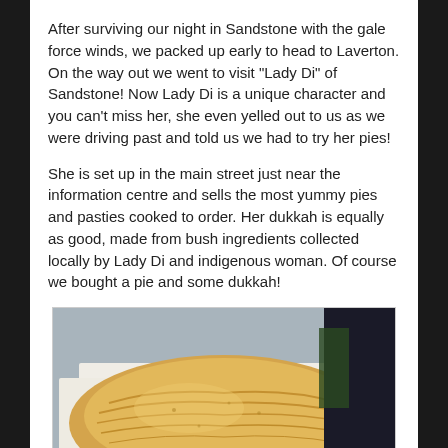After surviving our night in Sandstone with the gale force winds, we packed up early to head to Laverton. On the way out we went to visit "Lady Di" of Sandstone! Now Lady Di is a unique character and you can't miss her, she even yelled out to us as we were driving past and told us we had to try her pies!
She is set up in the main street just near the information centre and sells the most yummy pies and pasties cooked to order. Her dukkah is equally as good, made from bush ingredients collected locally by Lady Di and indigenous woman. Of course we bought a pie and some dukkah!
[Figure (photo): A golden pastry (pie or pasty) in white paper wrapping, photographed against a blue background with other items visible to the right]